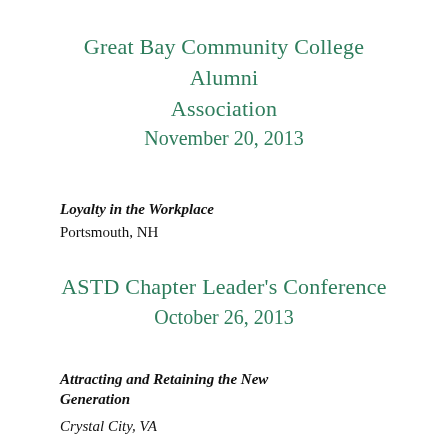Great Bay Community College Alumni Association
November 20, 2013
Loyalty in the Workplace
Portsmouth, NH
ASTD Chapter Leader's Conference
October 26, 2013
Attracting and Retaining the New Generation
Crystal City, VA